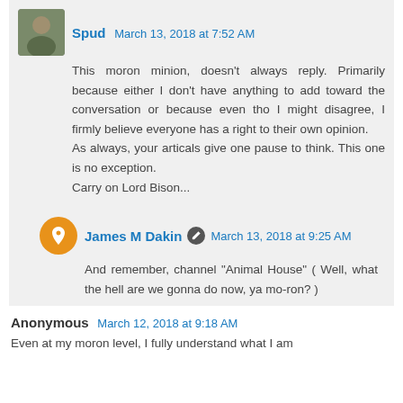Spud  March 13, 2018 at 7:52 AM
This moron minion, doesn't always reply. Primarily because either I don't have anything to add toward the conversation or because even tho I might disagree, I firmly believe everyone has a right to their own opinion.
As always, your articals give one pause to think. This one is no exception.
Carry on Lord Bison...
James M Dakin  March 13, 2018 at 9:25 AM
And remember, channel "Animal House" ( Well, what the hell are we gonna do now, ya mo-ron? )
Reply
Anonymous  March 12, 2018 at 9:18 AM
Even at my moron level, I fully understand what I am